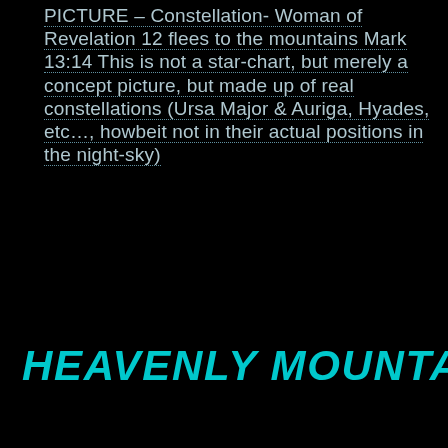PICTURE – Constellation- Woman of Revelation 12 flees to the mountains Mark 13:14 This is not a star-chart, but merely a concept picture, but made up of real constellations (Ursa Major & Auriga, Hyades, etc…, howbeit not in their actual positions in the night-sky)
HEAVENLY MOUNTAINS